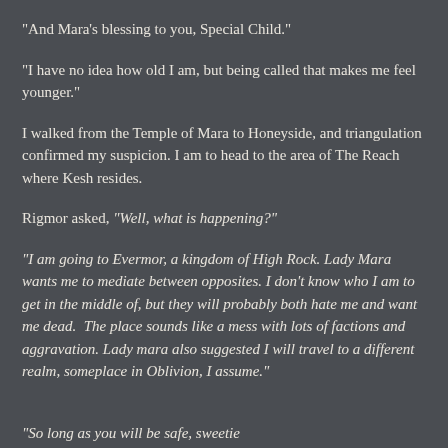“And Mara’s blessing to you, Special Child.”
“I have no idea how old I am, but being called that makes me feel younger.”
I walked from the Temple of Mara to Honeyside, and triangulation confirmed my suspicion. I am to head to the area of The Reach where Kesh resides.
Rigmor asked, “Well, what is happening?”
“I am going to Evermor, a kingdom of High Rock. Lady Mara wants me to mediate between opposites. I don’t know who I am to get in the middle of, but they will probably both hate me and want me dead. The place sounds like a mess with lots of factions and aggravation. Lady mara also suggested I will travel to a different realm, someplace in Oblivion, I assume.”
“So long as you will be safe, sweetie”